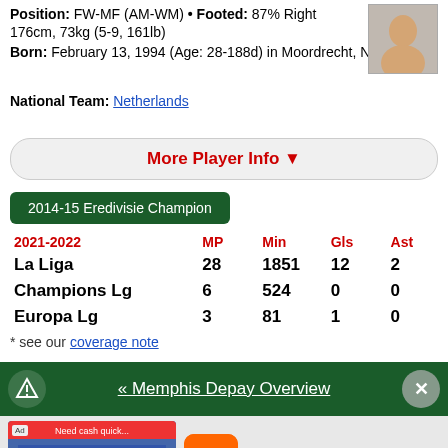Position: FW-MF (AM-WM) • Footed: 87% Right 176cm, 73kg (5-9, 161lb)
Born: February 13, 1994 (Age: 28-188d) in Moordrecht, Netherlands
National Team: Netherlands
More Player Info ▼
2014-15 Eredivisie Champion
| 2021-2022 | MP | Min | Gls | Ast |
| --- | --- | --- | --- | --- |
| La Liga | 28 | 1851 | 12 | 2 |
| Champions Lg | 6 | 524 | 0 | 0 |
| Europa Lg | 3 | 81 | 1 | 0 |
* see our coverage note
« Memphis Depay Overview
[Figure (screenshot): BitLife - Life Simulator advertisement banner]
Install!